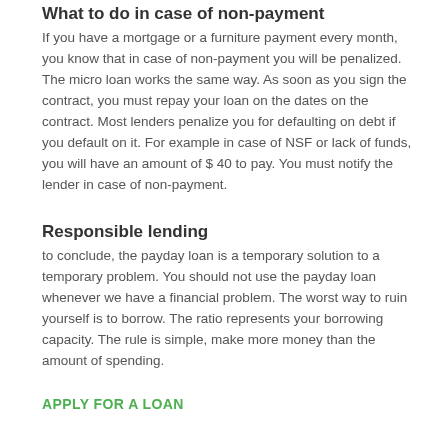What to do in case of non-payment
If you have a mortgage or a furniture payment every month, you know that in case of non-payment you will be penalized. The micro loan works the same way. As soon as you sign the contract, you must repay your loan on the dates on the contract. Most lenders penalize you for defaulting on debt if you default on it. For example in case of NSF or lack of funds, you will have an amount of $ 40 to pay. You must notify the lender in case of non-payment.
Responsible lending
to conclude, the payday loan is a temporary solution to a temporary problem. You should not use the payday loan whenever we have a financial problem. The worst way to ruin yourself is to borrow. The ratio represents your borrowing capacity. The rule is simple, make more money than the amount of spending.
APPLY FOR A LOAN